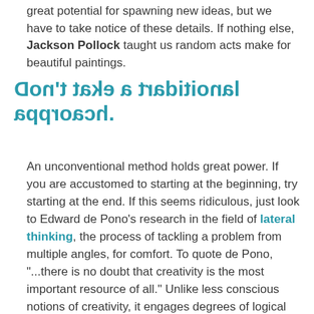great potential for spawning new ideas, but we have to take notice of these details. If nothing else, Jackson Pollock taught us random acts make for beautiful paintings.
Don't take a traditional approach.
An unconventional method holds great power. If you are accustomed to starting at the beginning, try starting at the end. If this seems ridiculous, just look to Edward de Pono's research in the field of lateral thinking, the process of tackling a problem from multiple angles, for comfort. To quote de Pono, "...there is no doubt that creativity is the most important resource of all." Unlike less conscious notions of creativity, it engages degrees of logical thought to awaken alternative viewpoints. This proves widely impactful in businesses. For example, the wildly successful global non-profit Liter of Light employed this paradigm in using water bottles as a sustainable means of generating